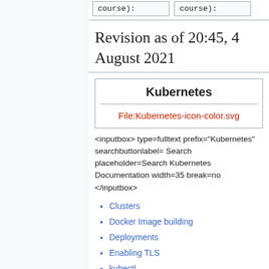course): course):
Revision as of 20:45, 4 August 2021
| Kubernetes |
| --- |
| File:Kubernetes-icon-color.svg |
<inputbox> type=fulltext prefix="Kubernetes" searchbuttonlabel= Search placeholder=Search Kubernetes Documentation width=35 break=no </inputbox>
Clusters
Docker Image building
Deployments
Enabling TLS
kubectl
kubectl/Cheat Sheet